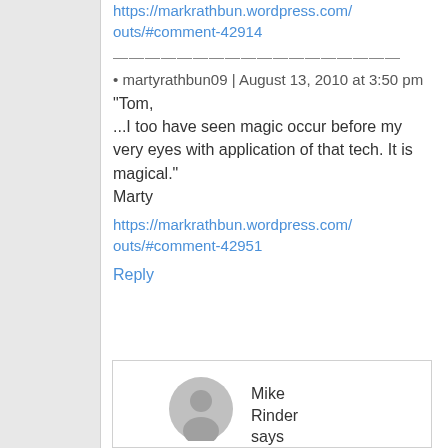https://markrathbun.wordpress.com/outs/#comment-42914
——————————————————
• martyrathbun09 | August 13, 2010 at 3:50 pm
“Tom,
...I too have seen magic occur before my very eyes with application of that tech. It is magical.”
Marty
https://markrathbun.wordpress.com/outs/#comment-42951
Reply
Mike Rinder says